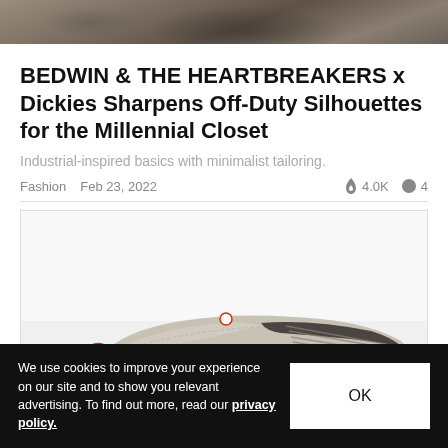[Figure (photo): Top portion of an outdoor/nature photo, cropped, showing rocky terrain and muted earth tones]
BEDWIN & THE HEARTBREAKERS x Dickies Sharpens Off-Duty Silhouettes for the Millennial Closet
Industrial-inspired basics with minimalist tailoring.
Fashion   Feb 23, 2022   🔥 4.0K   💬 4
[Figure (photo): Close-up of a silver/metallic low-top sneaker with orange heel accent and dark laces, on white background]
We use cookies to improve your experience on our site and to show you relevant advertising. To find out more, read our privacy policy.